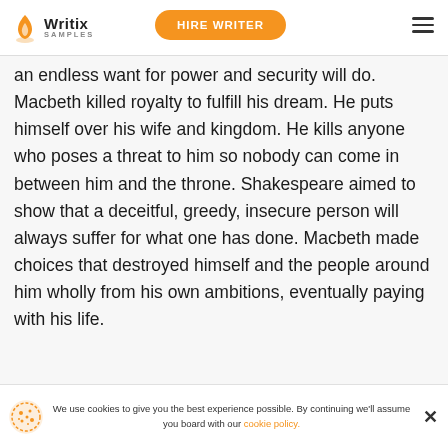Writix SAMPLES | HIRE WRITER
an endless want for power and security will do. Macbeth killed royalty to fulfill his dream. He puts himself over his wife and kingdom. He kills anyone who poses a threat to him so nobody can come in between him and the throne. Shakespeare aimed to show that a deceitful, greedy, insecure person will always suffer for what one has done. Macbeth made choices that destroyed himself and the people around him wholly from his own ambitions, eventually paying with his life.
We use cookies to give you the best experience possible. By continuing we'll assume you board with our cookie policy.